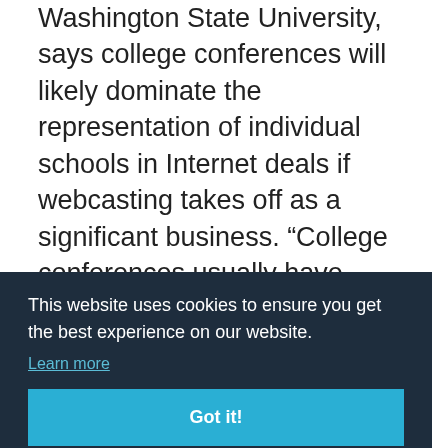Washington State University, says college conferences will likely dominate the representation of individual schools in Internet deals if webcasting takes off as a significant business. “College conferences usually have control over their member schools’ broadcast deals, and the transmission of video images over the Internet would fall under that jurisdiction,”
[Figure (screenshot): Cookie consent banner overlay with dark navy background. Contains text: 'This website uses cookies to ensure you get the best experience on our website.' with a 'Learn more' link and a teal 'Got it!' button.]
“You’ve had major independents, such as Penn